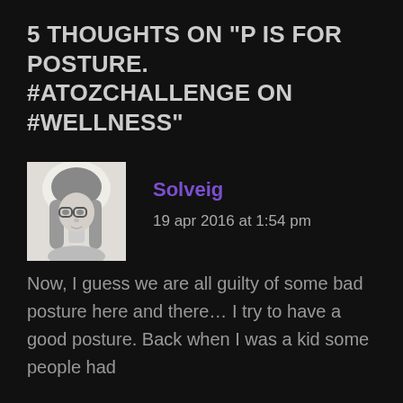5 THOUGHTS ON "P IS FOR POSTURE. #ATOZCHALLENGE ON #WELLNESS"
[Figure (photo): Grayscale profile photo of a person with long hair and glasses, facing slightly to the side, light background.]
Solveig
19 apr 2016 at 1:54 pm
Now, I guess we are all guilty of some bad posture here and there… I try to have a good posture. Back when I was a kid some people had